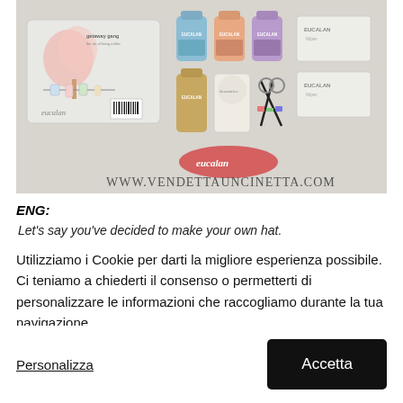[Figure (photo): Photo of Eucalan brand products including a 'getaway gang' travel kit pouch with a tree/laundry line illustration, several small bottles and packets of Eucalan wool wash in various colors (blue, peach/orange, purple, white/silver), a decorative bottle, scissors, and a red oval Eucalan logo badge. At the bottom of the image is text reading WWW.VENDETTAUNCINETTA.COM]
ENG:
Let's say you've decided to make your own hat.
Utilizziamo i Cookie per darti la migliore esperienza possibile. Ci teniamo a chiederti il consenso o permetterti di personalizzare le informazioni che raccogliamo durante la tua navigazione.
Personalizza
Accetta